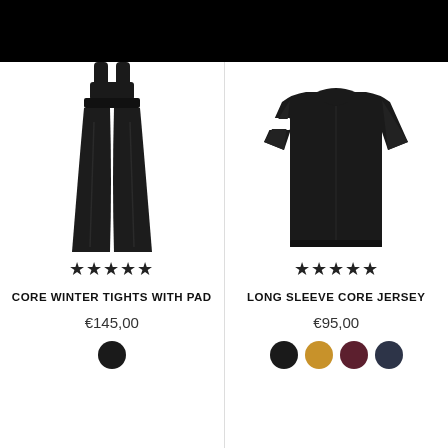[Figure (photo): Black cycling bib tights product photo on white background]
★★★★★
CORE WINTER TIGHTS WITH PAD
€145,00
[Figure (illustration): Black color swatch circle]
[Figure (photo): Black long sleeve cycling jersey with white arm band, product photo]
★★★★★
LONG SLEEVE CORE JERSEY
€95,00
[Figure (illustration): Color swatches: black, gold/mustard, burgundy/dark red, dark navy]